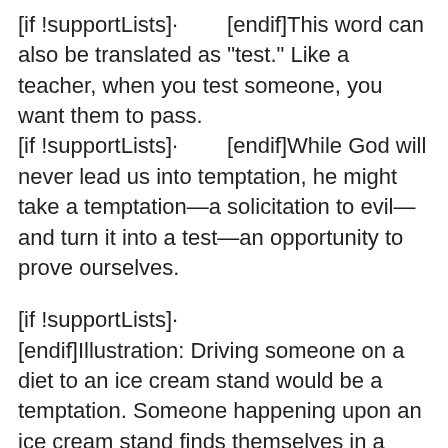[if !supportLists]·        [endif]This word can also be translated as "test." Like a teacher, when you test someone, you want them to pass.
[if !supportLists]·        [endif]While God will never lead us into temptation, he might take a temptation—a solicitation to evil—and turn it into a test—an opportunity to prove ourselves.
[if !supportLists]·
[endif]Illustration: Driving someone on a diet to an ice cream stand would be a temptation. Someone happening upon an ice cream stand finds themselves in a moment of testing.